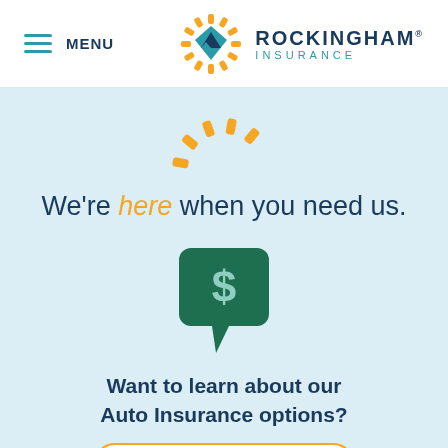[Figure (logo): Rockingham Insurance logo with stylized mountain/diamond shield icon and sunburst rays, teal and dark blue text]
[Figure (illustration): Yellow sunburst rays arranged in a semicircle arc, decorative icon matching brand logo style]
We're here when you need us.
[Figure (illustration): Dark green speech bubble with a dollar sign symbol inside, representing financial/insurance chat or quote]
Want to learn about our Auto Insurance options?
View Auto Insurance ▶